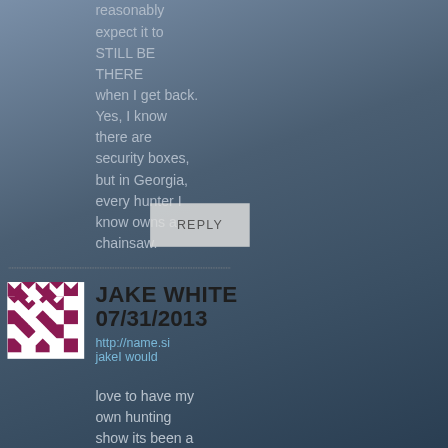reasonably expect it to STILL BE THERE when I get back. Yes, I know there are security boxes, but in Georgia, every hunter I know owns a chainsaw.
REPLY
JAKE WHITE
07/31/2013
http://name.si jakeI would love to have my own hunting show its been a dream since I was a little kid I have been
[Figure (illustration): Geometric quilt-pattern avatar icon with purple/maroon and white squares and star shapes]